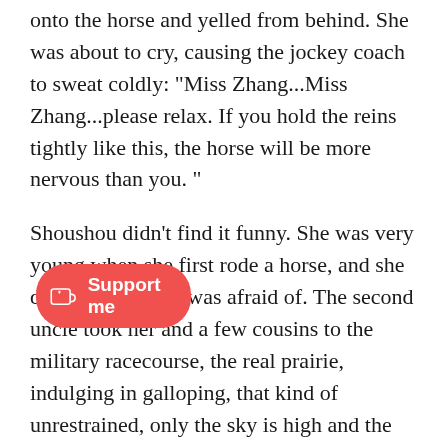onto the horse and yelled from behind. She was about to cry, causing the jockey coach to sweat coldly: "Miss Zhang...Miss Zhang...please relax. If you hold the reins tightly like this, the horse will be more nervous than you. "
Shoushou didn't find it funny. She was very young when she first rode a horse, and she didn't know what was afraid of. The second uncle took her and a few cousins to the military racecourse, the real prairie, indulging in galloping, that kind of unrestrained, only the sky is high and the clouds are light, and the four fields are vast. The whirring sound of the wind passed by her ears and made people lly. In fact, she really sang. w cousins, she sang "Return from Target Shooting 🀄🀄🀄🀄" to "Merry Go
[Figure (other): A red oval 'Support me' button with a Ko-fi cup icon on the left side, positioned in the lower left area of the page.]